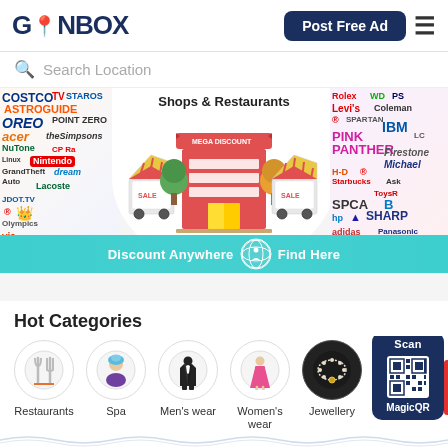[Figure (screenshot): GONBOX app header with logo, Post Free Ad button, and hamburger menu]
Search Location
[Figure (illustration): Banner showing Shops & Restaurants with cartoon store, vendor carts, brand logos collage, and teal Discount Anywhere Find Here strip]
Hot Categories
[Figure (illustration): Category icons row: Restaurants, Spa, Men's wear, Women's wear, Jewellery, Health & wellne with MagicQR Scan overlay]